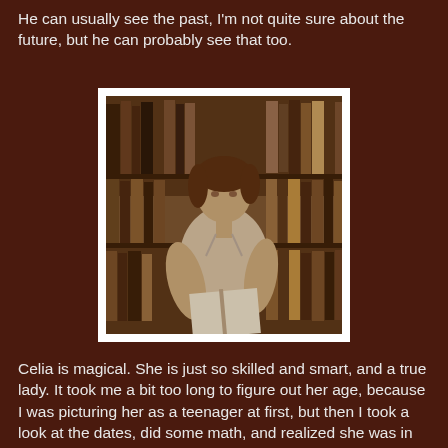He can usually see the past, I'm not quite sure about the future, but he can probably see that too.
[Figure (photo): Black and white vintage photograph of a young woman with short hair standing in a library, looking down at an open book she holds in her hands, with bookshelves full of books visible behind her.]
Celia is magical. She is just so skilled and smart, and a true lady. It took me a bit too long to figure out her age, because I was picturing her as a teenager at first, but then I took a look at the dates, did some math, and realized she was in her twenties. She was such a good protagonist. Intriguing, mysterious, skillful. Really crafty, she had these powers we didn't know much about other than they would come into play at some point. She held the entire circus together